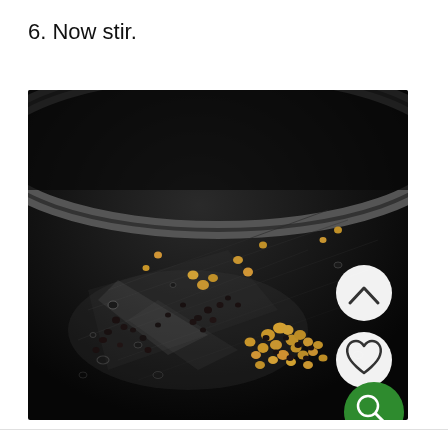6. Now stir.
[Figure (photo): Close-up photograph of a dark non-stick frying pan with mustard seeds and split yellow lentils (dal) being toasted in oil, sizzling on the pan surface.]